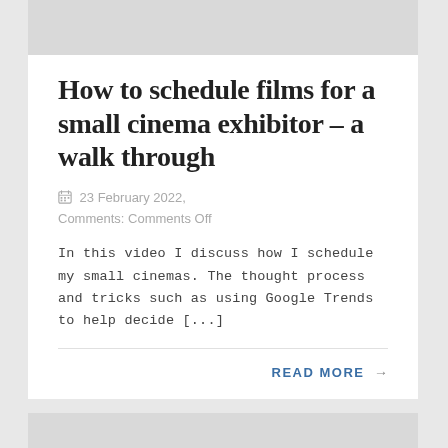How to schedule films for a small cinema exhibitor – a walk through
📅 23 February 2022,
Comments: Comments Off
In this video I discuss how I schedule my small cinemas. The thought process and tricks such as using Google Trends to help decide [...]
READ MORE →